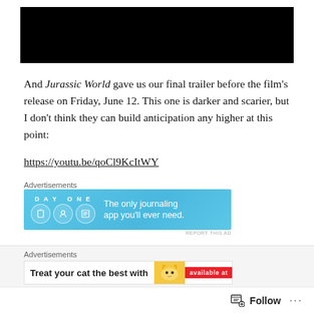[Figure (screenshot): Black rectangle representing a video thumbnail or embedded video player]
And Jurassic World gave us our final trailer before the film’s release on Friday, June 12. This one is darker and scarier, but I don’t think they can build anticipation any higher at this point:
https://youtu.be/qoCl9KcItWY
Advertisements
[Figure (screenshot): Day One journaling app advertisement banner with text 'The only journaling app you’ll ever need.']
REPORT THIS AD
Advertisements
[Figure (screenshot): Cat food advertisement banner with text 'Treat your cat the best with' and 'available at']
Follow
...